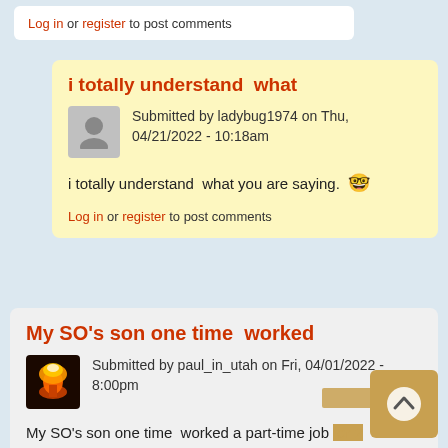Log in or register to post comments
i totally understand  what
Submitted by ladybug1974 on Thu, 04/21/2022 - 10:18am
i totally understand  what you are saying. 😊
Log in or register to post comments
My SO's son one time  worked
Submitted by paul_in_utah on Fri, 04/01/2022 - 8:00pm
My SO's son one time  worked a part-time job for 2 weeks.  It "stressed him out" and "triggered his anxiety," so